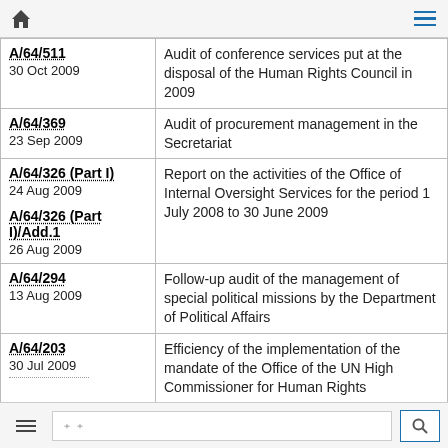🏠 日本語テキスト
| Document | Description |
| --- | --- |
| A/64/511
30 Oct 2009 | Audit of conference services put at the disposal of the Human Rights Council in 2009 |
| A/64/369
23 Sep 2009 | Audit of procurement management in the Secretariat |
| A/64/326 (Part I)
24 Aug 2009

A/64/326 (Part I)/Add.1
26 Aug 2009 | Report on the activities of the Office of Internal Oversight Services for the period 1 July 2008 to 30 June 2009 |
| A/64/294
13 Aug 2009 | Follow-up audit of the management of special political missions by the Department of Political Affairs |
| A/64/203
30 Jul 2009 | Efficiency of the implementation of the mandate of the Office of the UN High Commissioner for Human Rights |
☰  □□  🔍